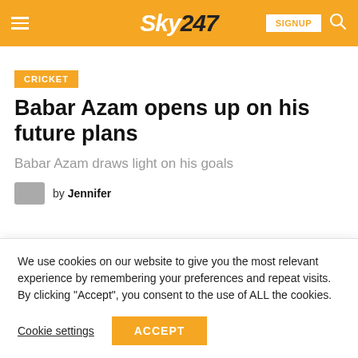Sky247
CRICKET
Babar Azam opens up on his future plans
Babar Azam draws light on his goals
by Jennifer
We use cookies on our website to give you the most relevant experience by remembering your preferences and repeat visits. By clicking “Accept”, you consent to the use of ALL the cookies.
Cookie settings   ACCEPT